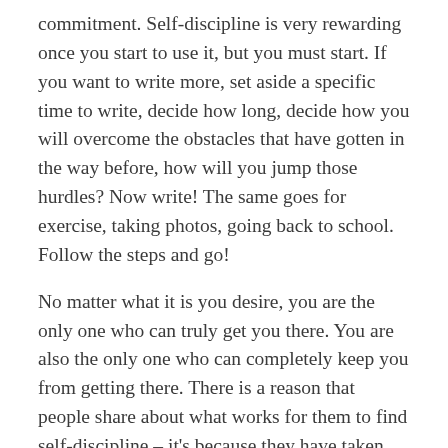commitment. Self-discipline is very rewarding once you start to use it, but you must start. If you want to write more, set aside a specific time to write, decide how long, decide how you will overcome the obstacles that have gotten in the way before, how will you jump those hurdles? Now write! The same goes for exercise, taking photos, going back to school. Follow the steps and go!
No matter what it is you desire, you are the only one who can truly get you there. You are also the only one who can completely keep you from getting there. There is a reason that people share about what works for them to find self-discipline – it's because they have taken the time, put in the work and are repeating the rewards of making all those things they wished and hoped for a reality. That can be you too! It can even start today! But YOU must be the one to get the ball rolling. If you want something different, if you want to live the life you always dreamed, it can start very small, but it must start. You are where you are today, because of you. You are a product of all your